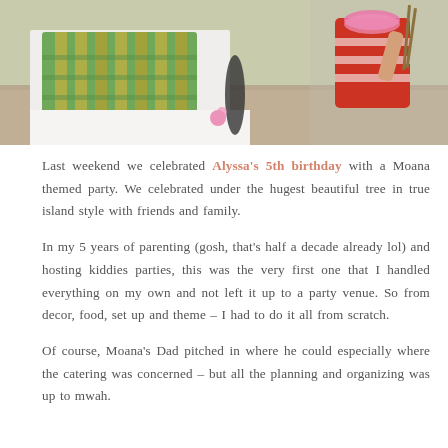[Figure (photo): Outdoor party scene showing a white tablecloth-covered table decorated with a bamboo-style green and yellow banner/sign on the left, and a child wearing a red floral outfit and pink lei holding chopsticks or sticks on the right. Gravel ground visible.]
Last weekend we celebrated Alyssa's 5th birthday with a Moana themed party. We celebrated under the hugest beautiful tree in true island style with friends and family.
In my 5 years of parenting (gosh, that's half a decade already lol) and hosting kiddies parties, this was the very first one that I handled everything on my own and not left it up to a party venue. So from decor, food, set up and theme – I had to do it all from scratch.
Of course, Moana's Dad pitched in where he could especially where the catering was concerned – but all the planning and organizing was up to mwah.